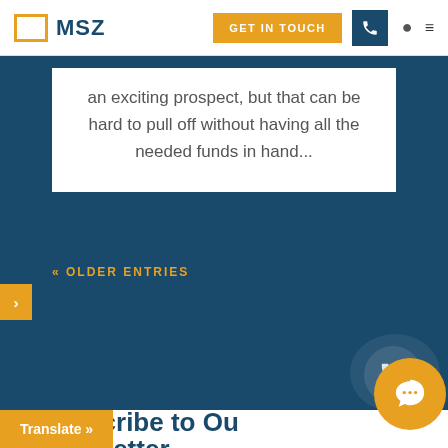MSZ — GET IN TOUCH
an exciting prospect, but that can be hard to pull off without having all the needed funds in hand...
« OLDER ENTRIES
Subscribe to Our Newsletter